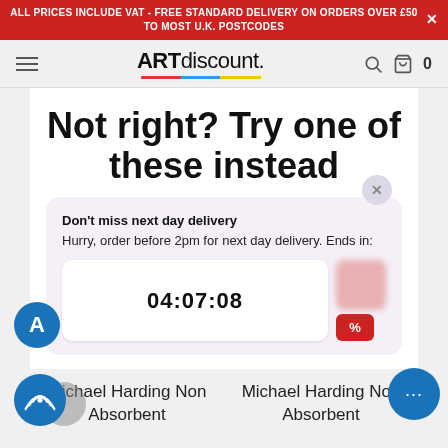ALL PRICES INCLUDE VAT - FREE STANDARD DELIVERY ON ORDERS OVER £50 TO MOST U.K. POSTCODES
[Figure (logo): ARTdiscount logo with coloured underline, hamburger menu, search icon, and cart with 0 items]
Not right? Try one of these instead
Don't miss next day delivery
Hurry, order before 2pm for next day delivery. Ends in:
04:07:08
Michael Harding Non Absorbent
Michael Harding Non Absorbent